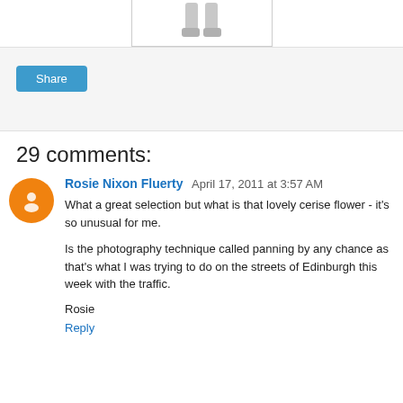[Figure (illustration): Partial view of an image box with a small graphic (appears to be legs/socks figure) at the top of the page]
Share
29 comments:
Rosie Nixon Fluerty  April 17, 2011 at 3:57 AM
What a great selection but what is that lovely cerise flower - it's so unusual for me.

Is the photography technique called panning by any chance as that's what I was trying to do on the streets of Edinburgh this week with the traffic.

Rosie
Reply